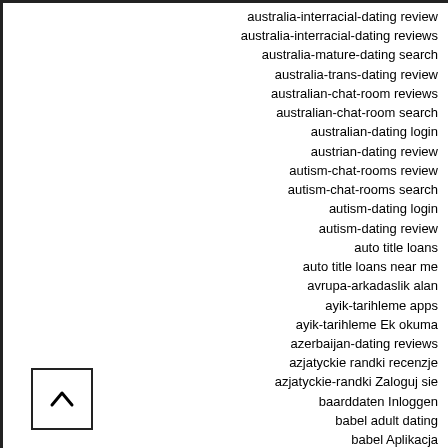australia-interracial-dating review
australia-interracial-dating reviews
australia-mature-dating search
australia-trans-dating review
australian-chat-room reviews
australian-chat-room search
australian-dating login
austrian-dating review
autism-chat-rooms review
autism-chat-rooms search
autism-dating login
autism-dating review
auto title loans
auto title loans near me
avrupa-arkadaslik alan
ayik-tarihleme apps
ayik-tarihleme Ek okuma
azerbaijan-dating reviews
azjatyckie randki recenzje
azjatyckie-randki Zaloguj sie
baarddaten Inloggen
babel adult dating
babel Aplikacja
babel eksi
Babel frauen app
babel login
Babel meetic